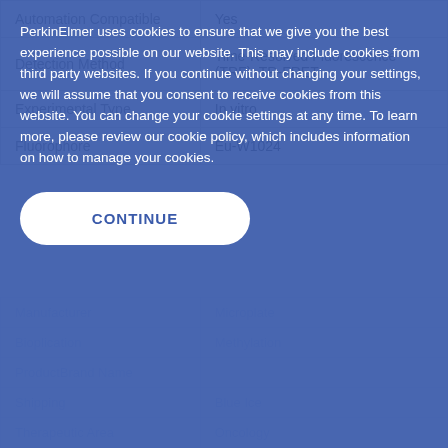| Property | Value |
| --- | --- |
| Automation Compatible | Yes |
| Detection Method | Time-Resolved Fluorescence (TRF), TR-FRET |
| Experimental Type | In vitro |
| Fluorophore | Eu-W1024 |
| Manufacturer | PerkinElmer |
| Bioplication | Methylation |
| ProductBrand Name |  |
| Shipping | Blue Ice |
| Therapeutic Area | Oncology |
PerkinElmer uses cookies to ensure that we give you the best experience possible on our website. This may include cookies from third party websites. If you continue without changing your settings, we will assume that you consent to receive cookies from this website. You can change your cookie settings at any time. To learn more, please review our cookie policy, which includes information on how to manage your cookies.
CONTINUE